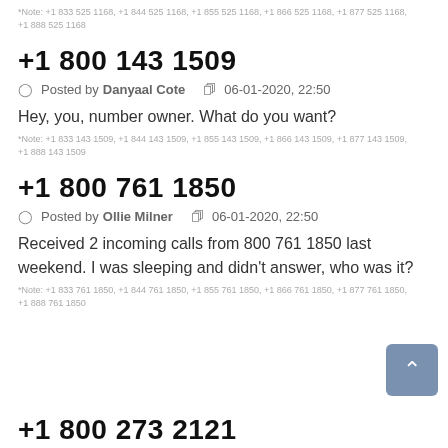*Note: +1 833 525 1168, +1 844 525 1168, +1 855 525 1168, +1 866 525 1168, +1 877 525 1168, +1 888 525 1168
+1 800 143 1509
Posted by Danyaal Cote   06-01-2020, 22:50
Hey, you, number owner. What do you want?
*Note: +1 833 143 1509, +1 844 143 1509, +1 855 143 1509, +1 866 143 1509, +1 877 143 1509, +1 888 143 1509
+1 800 761 1850
Posted by Ollie Milner   06-01-2020, 22:50
Received 2 incoming calls from 800 761 1850 last weekend. I was sleeping and didn't answer, who was it?
*Note: +1 833 761 1850, +1 844 761 1850, +1 855 761 1850, +1 866 761 1850, +1 877 761 1850, +1 888 761 1850
+1 800 273 2121